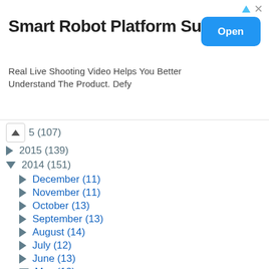[Figure (screenshot): Advertisement banner for 'Smart Robot Platform Supply' with an Open button and subtitle text]
▲ 5 (107)
► 2015 (139)
▼ 2014 (151)
► December (11)
► November (11)
► October (13)
► September (13)
► August (14)
► July (12)
► June (13)
▼ May (12)
Simple Kofta Burgers